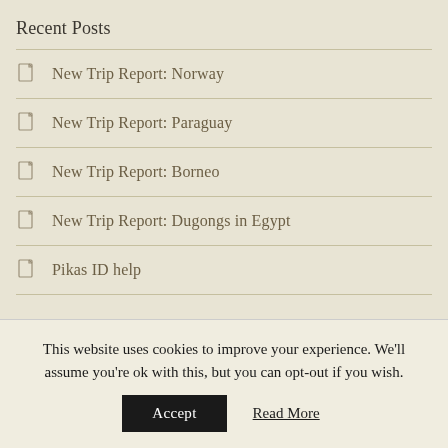Recent Posts
New Trip Report: Norway
New Trip Report: Paraguay
New Trip Report: Borneo
New Trip Report: Dugongs in Egypt
Pikas ID help
Recent Comments
Ángel on New Trip Report: Paraguay
This website uses cookies to improve your experience. We'll assume you're ok with this, but you can opt-out if you wish.
Accept
Read More